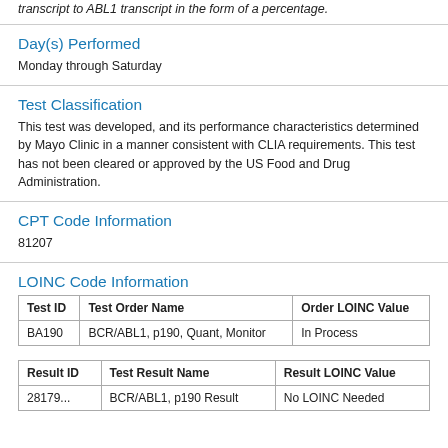transcript to ABL1 transcript in the form of a percentage.
Day(s) Performed
Monday through Saturday
Test Classification
This test was developed, and its performance characteristics determined by Mayo Clinic in a manner consistent with CLIA requirements. This test has not been cleared or approved by the US Food and Drug Administration.
CPT Code Information
81207
LOINC Code Information
| Test ID | Test Order Name | Order LOINC Value |
| --- | --- | --- |
| BA190 | BCR/ABL1, p190, Quant, Monitor | In Process |
| Result ID | Test Result Name | Result LOINC Value |
| --- | --- | --- |
| 28179... | BCR/ABL1, p190 Result | No LOINC Needed |